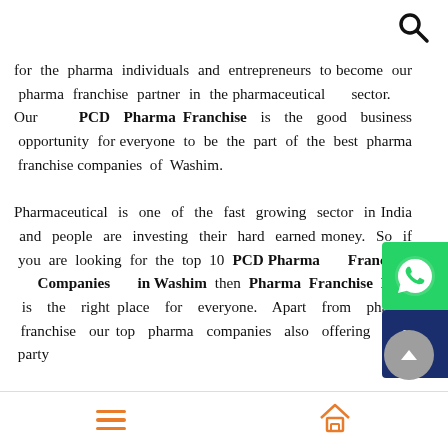for the pharma individuals and entrepreneurs to become our pharma franchise partner in the pharmaceutical sector. Our PCD Pharma Franchise is the good business opportunity for everyone to be the part of the best pharma franchise companies of Washim.

Pharmaceutical is one of the fast growing sector in India and people are investing their hard earned money. So if you are looking for the top 10 PCD Pharma Franchise Companies in Washim then Pharma Franchise Kart is the right place for everyone. Apart from pharma franchise our top pharma companies also offering third party
[Figure (other): WhatsApp contact button (green background with WhatsApp logo)]
[Figure (other): Phone call button (dark blue background with phone handset icon)]
[Figure (other): Scroll to top button (grey circle with arrow icon)]
Hamburger menu icon and Home icon navigation bar